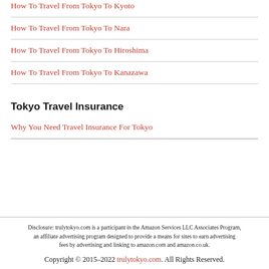How To Travel From Tokyo To Kyoto
How To Travel From Tokyo To Nara
How To Travel From Tokyo To Hiroshima
How To Travel From Tokyo To Kanazawa
Tokyo Travel Insurance
Why You Need Travel Insurance For Tokyo
Disclosure: trulytokyo.com is a participant in the Amazon Services LLC Associates Program, an affiliate advertising program designed to provide a means for sites to earn advertising fees by advertising and linking to amazon.com and amazon.co.uk.
Copyright © 2015–2022 trulytokyo.com. All Rights Reserved.